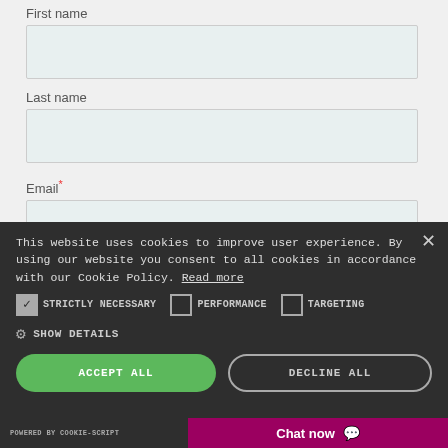First name
Last name
Email*
This website uses cookies to improve user experience. By using our website you consent to all cookies in accordance with our Cookie Policy. Read more
STRICTLY NECESSARY  PERFORMANCE  TARGETING
SHOW DETAILS
ACCEPT ALL
DECLINE ALL
POWERED BY COOKIE-SCRIPT
Chat now